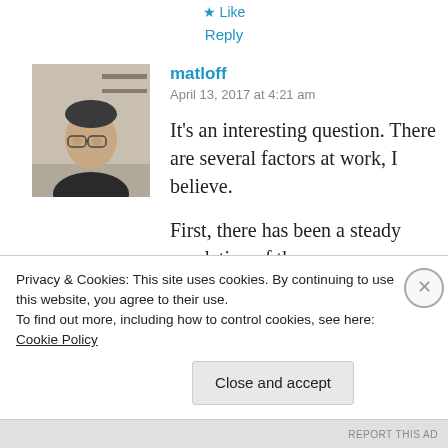Like
Reply
[Figure (photo): Profile photo of a man wearing glasses, dark shirt, in a room with shelves in background]
matloff
April 13, 2017 at 4:21 am
It’s an interesting question. There are several factors at work, I believe.
First, there has been a steady escalation of the
Privacy & Cookies: This site uses cookies. By continuing to use this website, you agree to their use.
To find out more, including how to control cookies, see here: Cookie Policy
Close and accept
REPORT THIS AD